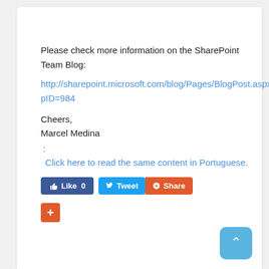Please check more information on the SharePoint Team Blog:
http://sharepoint.microsoft.com/blog/Pages/BlogPost.aspx?pID=984
Cheers,
Marcel Medina
:
Click here to read the same content in Portuguese.
[Figure (screenshot): Social sharing buttons: Facebook Like (0), Twitter Tweet, and Google+ Share buttons, plus a red plus (+) button and a back-to-top arrow button]